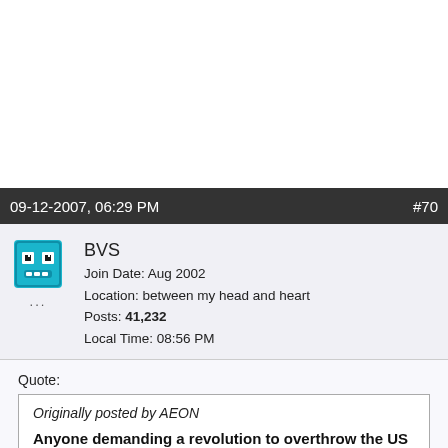09-12-2007, 06:29 PM   #70
BVS
Join Date: Aug 2002
Location: between my head and heart
Posts: 41,232
Local Time: 08:56 PM
Quote:
Originally posted by AEON

Anyone demanding a revolution to overthrow the US government is a threat